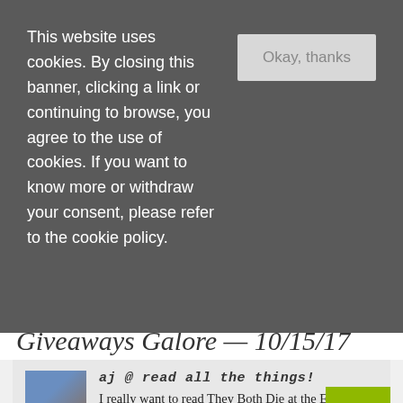This website uses cookies. By closing this banner, clicking a link or continuing to browse, you agree to the use of cookies. If you want to know more or withdraw your consent, please refer to the cookie policy.
Okay, thanks
Giveaways Galore — 10/15/17
aj @ read all the things!
I really want to read They Both Die at the End. It sounds so good. I hope you enjoy it.
october 15, 2017, 8:36 am
Reply
nicole @ feed your fiction addiction
Hope you get to read it!